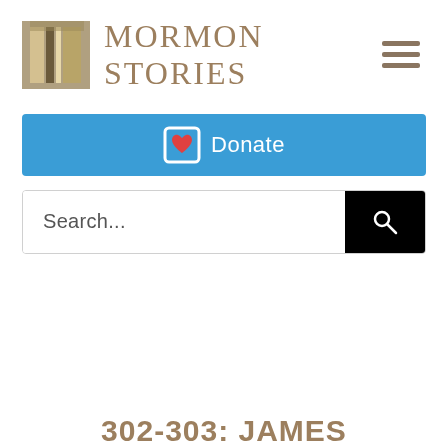[Figure (logo): Mormon Stories logo with stylized column image and serif text reading MORMON STORIES]
[Figure (infographic): Blue Donate button with heart icon]
[Figure (screenshot): Search bar with black search button]
302-303: JAMES